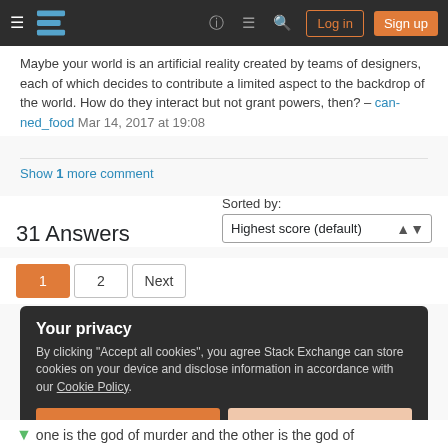Stack Exchange navigation bar with logo, help, chat, search, log in, sign up
Maybe your world is an artificial reality created by teams of designers, each of which decides to contribute a limited aspect to the backdrop of the world. How do they interact but not grant powers, then? – can-ned_food Mar 14, 2017 at 19:08
Show 1 more comment
31 Answers
Sorted by: Highest score (default)
1 2 Next
Your privacy
By clicking "Accept all cookies", you agree Stack Exchange can store cookies on your device and disclose information in accordance with our Cookie Policy.
Accept all cookies   Customize settings
one is the god of murder and the other is the god of